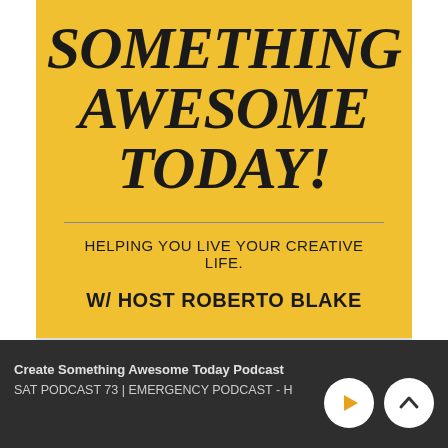[Figure (illustration): Yellow podcast artwork for 'Create Something Awesome Today' podcast with large bold italic text reading 'SOMETHING AWESOME TODAY!', subtitle 'HELPING YOU LIVE YOUR CREATIVE LIFE.' and host credit 'W/ HOST ROBERTO BLAKE']
Create Something Awesome Today Podcast
SAT PODCAST 73 | EMERGENCY PODCAST - H